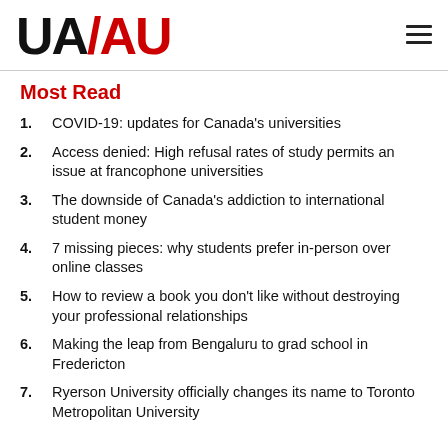UA/AU
Most Read
1. COVID-19: updates for Canada's universities
2. Access denied: High refusal rates of study permits an issue at francophone universities
3. The downside of Canada's addiction to international student money
4. 7 missing pieces: why students prefer in-person over online classes
5. How to review a book you don't like without destroying your professional relationships
6. Making the leap from Bengaluru to grad school in Fredericton
7. Ryerson University officially changes its name to Toronto Metropolitan University